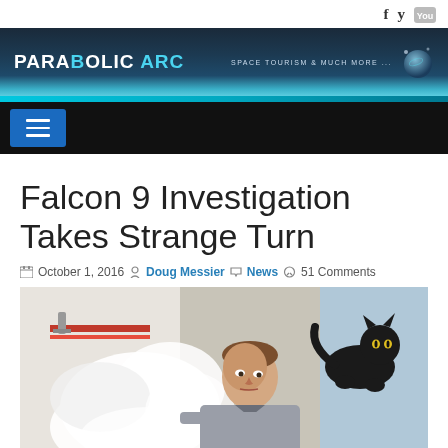PARABOLIC ARC — SPACE TOURISM & MUCH MORE
Falcon 9 Investigation Takes Strange Turn
October 1, 2016  Doug Messier  News  51 Comments
[Figure (photo): Man leaning over examining something with white steam/smoke, a black cat on his shoulder/back, near industrial equipment with red stripe markings]